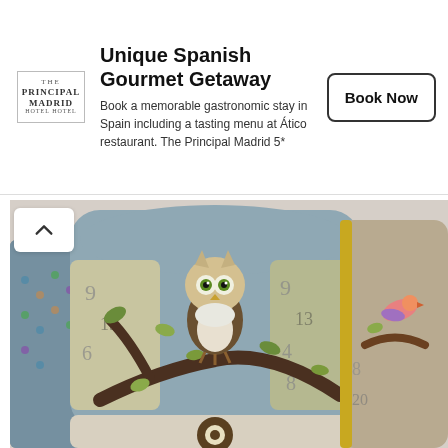[Figure (other): Advertisement banner for The Principal Madrid hotel. Shows logo on left, headline 'Unique Spanish Gourmet Getaway', body text about a gastronomic stay, and a 'Book Now' button on right.]
[Figure (photo): Photo of decorative wingback chairs. The central chair has a blue/grey upholstered back with an appliquéd owl sitting on a branch with leaves. The side panels and arms have patterned fabric with numbers and shapes. Another chair behind it has a beige/taupe back with a bird on a branch. A third chair arm is visible on the left with colourful dotted/patterned fabric.]